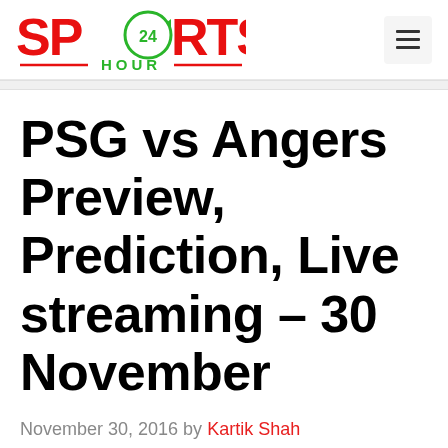Sports 24 Hour [logo] — navigation menu
PSG vs Angers Preview, Prediction, Live streaming – 30 November
November 30, 2016 by Kartik Shah